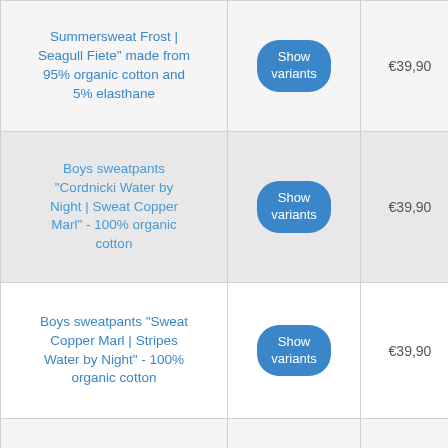| Product | Variants | Price |  |
| --- | --- | --- | --- |
| Summersweat Frost | Seagull Fiete" made from 95% organic cotton and 5% elasthane | Show variants | €39,90 |  |
| Boys sweatpants "Cordnicki Water by Night | Sweat Copper Marl" - 100% organic cotton | Show variants | €39,90 |  |
| Boys sweatpants "Sweat Copper Marl | Stripes Water by Night" - 100% organic cotton | Show variants | €39,90 |  |
| Girls sweatpants "Nicki Caramel | Nicki Pagoda Blue" - 100% organic cotton | Show variants | €39,90 |  |
| Girls sweatpants "Cordnicki Ebb and Mi... | Show variants |  |  |